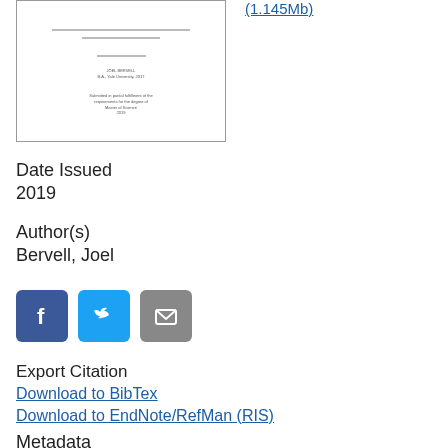[Figure (other): Thumbnail preview of a thesis document cover page]
(1.145Mb)
Date Issued
2019
Author(s)
Bervell, Joel
[Figure (other): Social sharing icons: Facebook, Twitter, Email]
Export Citation
Download to BibTex
Download to EndNote/RefMan (RIS)
Metadata